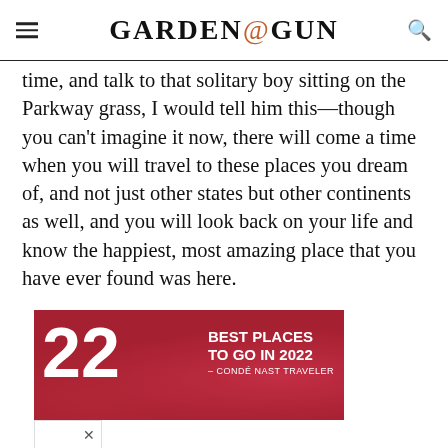GARDEN&GUN
time, and talk to that solitary boy sitting on the Parkway grass, I would tell him this—though you can't imagine it now, there will come a time when you will travel to these places you dream of, and not just other states but other continents as well, and you will look back on your life and know the happiest, most amazing place that you have ever found was here.
[Figure (infographic): Advertisement banner: '22 Best Places to Go in 2022 – Condé Nast Traveler' with red rose background, and Birmingham logo beside it.]